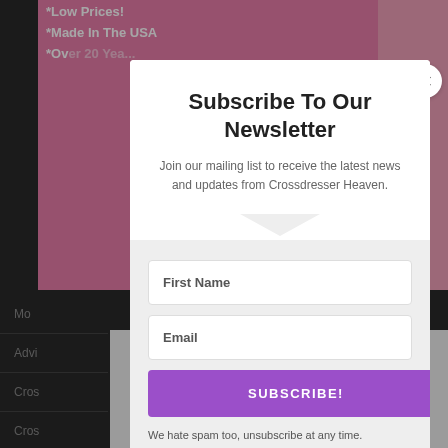[Figure (screenshot): Website screenshot showing a newsletter subscription modal popup over a website background with pink banner and dark sidebar]
Subscribe To Our Newsletter
Join our mailing list to receive the latest news and updates from Crossdresser Heaven.
First Name
Email
SUBSCRIBE!
We hate spam too, unsubscribe at any time.